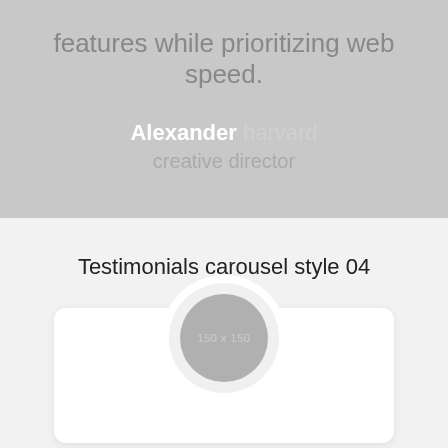features while prioritizing web speed.
Alexander harvard
creative director
Testimonials carousel style 04
[Figure (illustration): A circular avatar placeholder with white ring background showing '150 x 150' inside a gray circle, part of a white card widget.]